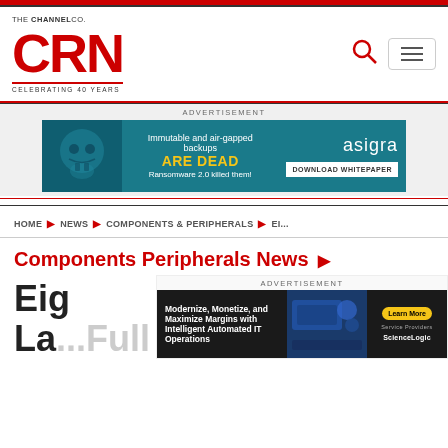THE CHANNEL CO. CRN CELEBRATING 40 YEARS
[Figure (logo): CRN logo in red with THE CHANNEL CO. above and CELEBRATING 40 YEARS below]
ADVERTISEMENT
[Figure (screenshot): Asigra advertisement banner: Immutable and air-gapped backups ARE DEAD Ransomware 2.0 killed them! DOWNLOAD WHITEPAPER]
HOME ▶ NEWS ▶ COMPONENTS & PERIPHERALS ▶ EI...
Components Peripherals News ▶
ADVERTISEMENT
[Figure (screenshot): ScienceLogic advertisement: Modernize, Monetize, and Maximize Margins with Intelligent Automated IT Operations. Learn More button.]
Eig... La... Full Issu...